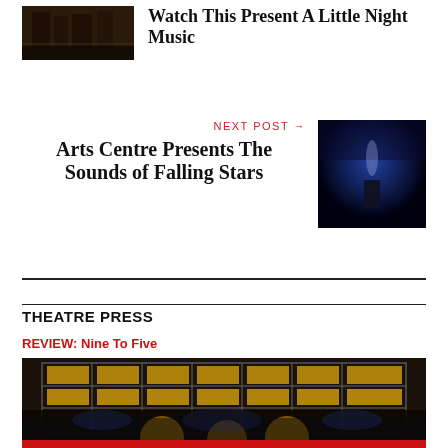[Figure (photo): Thumbnail image of a theatre stage scene with dark warm lighting]
Watch This Present A Little Night Music
NEXT POST →
Arts Centre Presents The Sounds of Falling Stars
[Figure (photo): Concert stage photo with blue lighting and a performer silhouette]
THEATRE PRESS
REVIEW: Nine To Five
[Figure (photo): Stage set photo showing a large theatrical set with illuminated yellow panels and scaffolding structure]